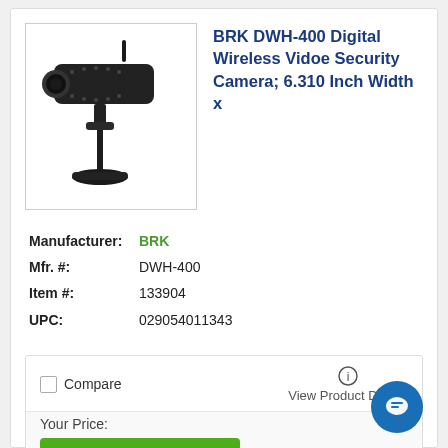[Figure (photo): Black BRK DWH-400 outdoor wireless security camera mounted on a pole/stand, shown against white background]
BRK DWH-400 Digital Wireless Vidoe Security Camera; 6.310 Inch Width x
Manufacturer: BRK
Mfr. #: DWH-400
Item #: 133904
UPC: 029054011343
Compare
View Product Details
Your Price:
LOG IN / REGISTER